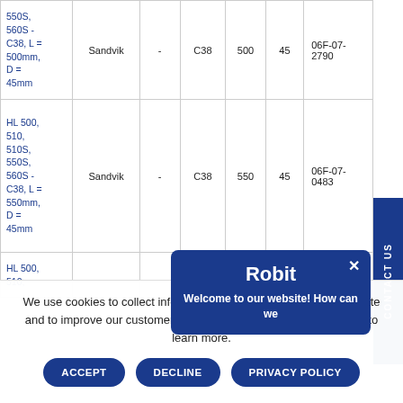| Model | Brand | Thread | Grade | L | D | Part No. |
| --- | --- | --- | --- | --- | --- | --- |
| 550S, 560S - C38, L = 500mm, D = 45mm | Sandvik | - | C38 | 500 | 45 | 06F-07-2790 |
| HL 500, 510, 510S, 550S, 560S - C38, L = 550mm, D = 45mm | Sandvik | - | C38 | 550 | 45 | 06F-07-0483 |
| HL 500, 510, ... |  |  |  |  |  |  |
[Figure (screenshot): Robit chat popup overlay with 'Welcome to our website! How can we' message]
We use cookies to collect information about how you use our website and to improve our customer experience. Read our Privacy Policy to learn more.